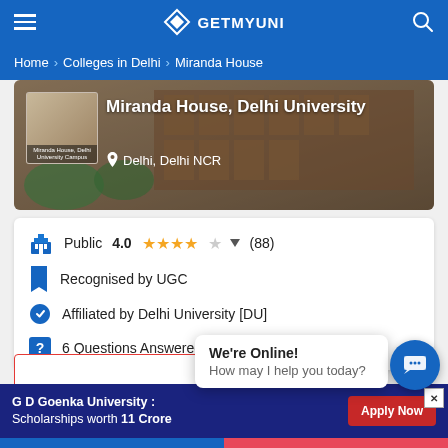GETMYUNI
Home > Colleges in Delhi > Miranda House
[Figure (photo): Miranda House, Delhi University campus building photo with college logo thumbnail]
Miranda House, Delhi University
Delhi, Delhi NCR
Public  4.0  (88)
Recognised by UGC
Affiliated by Delhi University [DU]
6 Questions Answered
We're Online!
How may I help you today?
Brochure
G D Goenka University : Scholarships worth 11 Crore
Apply Now
Talk To Experts
Apply Now